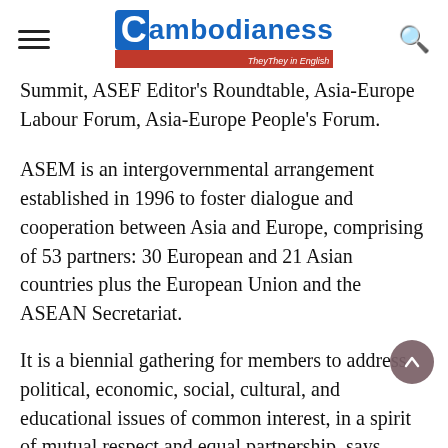Cambodianess — TheyTheyTheey in English
Summit, ASEF Editor's Roundtable, Asia-Europe Labour Forum, Asia-Europe People's Forum.
ASEM is an intergovernmental arrangement established in 1996 to foster dialogue and cooperation between Asia and Europe, comprising of 53 partners: 30 European and 21 Asian countries plus the European Union and the ASEAN Secretariat.
It is a biennial gathering for members to address political, economic, social, cultural, and educational issues of common interest, in a spirit of mutual respect and equal partnership, says ASEM's official website.